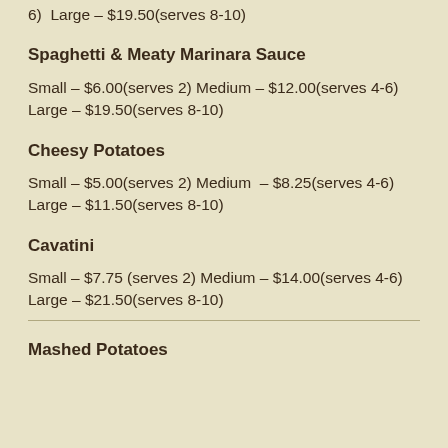6)  Large – $19.50(serves 8-10)
Spaghetti & Meaty Marinara Sauce
Small – $6.00(serves 2) Medium – $12.00(serves 4-6)  Large – $19.50(serves 8-10)
Cheesy Potatoes
Small – $5.00(serves 2) Medium – $8.25(serves 4-6) Large – $11.50(serves 8-10)
Cavatini
Small – $7.75 (serves 2) Medium – $14.00(serves 4-6) Large – $21.50(serves 8-10)
Mashed Potatoes